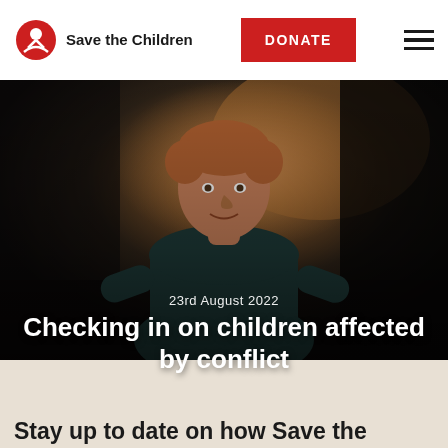Save the Children
DONATE
[Figure (photo): A smiling boy with reddish-brown hair wearing a dark teal long-sleeve shirt, in a dimly lit indoor setting with warm-toned background]
23rd August 2022
Checking in on children affected by conflict
Stay up to date on how Save the